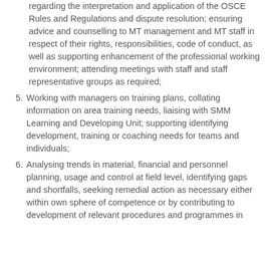regarding the interpretation and application of the OSCE Rules and Regulations and dispute resolution; ensuring advice and counselling to MT management and MT staff in respect of their rights, responsibilities, code of conduct, as well as supporting enhancement of the professional working environment; attending meetings with staff and staff representative groups as required;
5. Working with managers on training plans, collating information on area training needs, liaising with SMM Learning and Developing Unit; supporting identifying development, training or coaching needs for teams and individuals;
6. Analysing trends in material, financial and personnel planning, usage and control at field level, identifying gaps and shortfalls, seeking remedial action as necessary either within own sphere of competence or by contributing to development of relevant procedures and programmes in